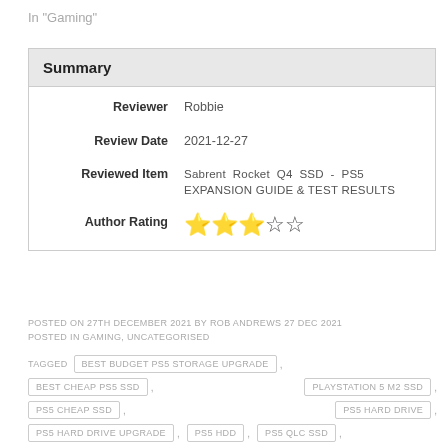In "Gaming"
| Field | Value |
| --- | --- |
| Reviewer | Robbie |
| Review Date | 2021-12-27 |
| Reviewed Item | Sabrent Rocket Q4 SSD - PS5 EXPANSION GUIDE & TEST RESULTS |
| Author Rating | 3/5 stars |
POSTED ON 27TH DECEMBER 2021 BY ROB ANDREWS 27 DEC 2021 POSTED IN GAMING, UNCATEGORISED
TAGGED
BEST BUDGET PS5 STORAGE UPGRADE
BEST CHEAP PS5 SSD
PLAYSTATION 5 M2 SSD
PS5 CHEAP SSD
PS5 HARD DRIVE
PS5 HARD DRIVE UPGRADE
PS5 HDD
PS5 QLC SSD